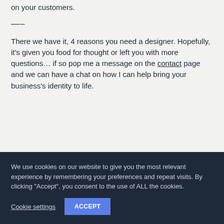on your customers.
—–
There we have it, 4 reasons you need a designer. Hopefully, it's given you food for thought or left you with more questions… if so pop me a message on the contact page and we can have a chat on how I can help bring your business's identity to life.
We use cookies on our website to give you the most relevant experience by remembering your preferences and repeat visits. By clicking "Accept", you consent to the use of ALL the cookies.
Cookie settings
ACCEPT